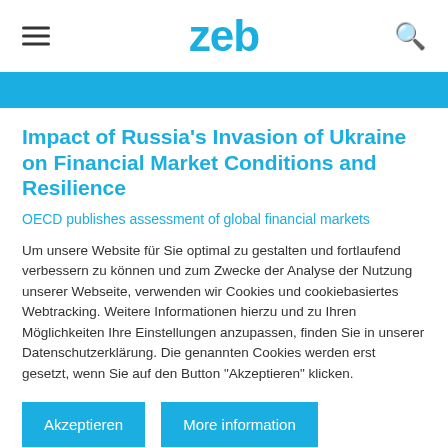zeb
Impact of Russia's Invasion of Ukraine on Financial Market Conditions and Resilience
OECD publishes assessment of global financial markets
Um unsere Website für Sie optimal zu gestalten und fortlaufend verbessern zu können und zum Zwecke der Analyse der Nutzung unserer Webseite, verwenden wir Cookies und cookiebasiertes Webtracking. Weitere Informationen hierzu und zu Ihren Möglichkeiten Ihre Einstellungen anzupassen, finden Sie in unserer Datenschutzerklärung. Die genannten Cookies werden erst gesetzt, wenn Sie auf den Button "Akzeptieren" klicken.
Akzeptieren | More information